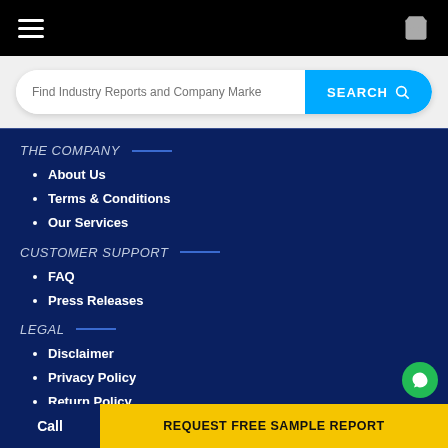Navigation bar with hamburger menu and cart icon
Find Industry Reports and Company Marke
THE COMPANY
About Us
Terms & Conditions
Our Services
CUSTOMER SUPPORT
FAQ
Press Releases
LEGAL
Disclaimer
Privacy Policy
Return Policy
Call | REQUEST FREE SAMPLE REPORT